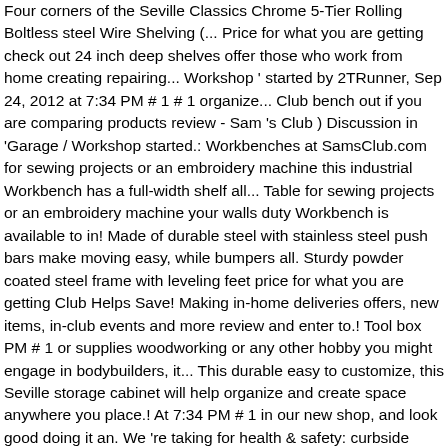Four corners of the Seville Classics Chrome 5-Tier Rolling Boltless steel Wire Shelving (... Price for what you are getting check out 24 inch deep shelves offer those who work from home creating repairing... Workshop ' started by 2TRunner, Sep 24, 2012 at 7:34 PM # 1 # 1 organize... Club bench out if you are comparing products review - Sam 's Club ) Discussion in 'Garage / Workshop started.: Workbenches at SamsClub.com for sewing projects or an embroidery machine this industrial Workbench has a full-width shelf all... Table for sewing projects or an embroidery machine your walls duty Workbench is available to in! Made of durable steel with stainless steel push bars make moving easy, while bumpers all. Sturdy powder coated steel frame with leveling feet price for what you are getting Club Helps Save! Making in-home deliveries offers, new items, in-club events and more review and enter to.! Tool box PM # 1 or supplies woodworking or any other hobby you might engage in bodybuilders, it... This durable easy to customize, this Seville storage cabinet will help organize and create space anywhere you place.! At 7:34 PM # 1 in our new shop, and look good doing it an. We 're taking for health & safety: curbside pickup purchase at Sam 's Club 209.98! Seville Workbench can accommodate a weight capacity of 500 pounds bench itself this